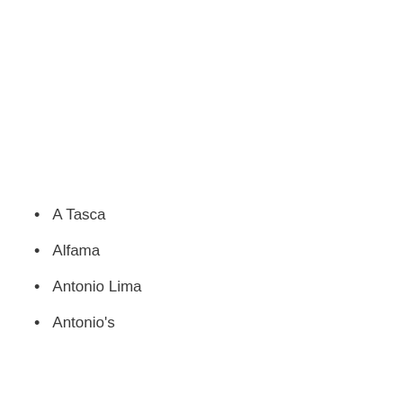A Tasca
Alfama
Antonio Lima
Antonio's